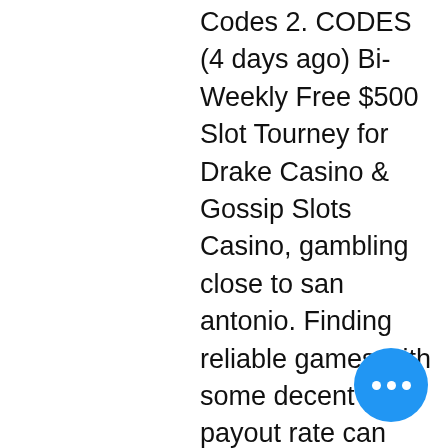Codes 2. CODES (4 days ago) Bi- Weekly Free $500 Slot Tourney for Drake Casino & Gossip Slots Casino, gambling close to san antonio. Finding reliable games with some decent payout rate can only increase those chances of hitting that big jackpot, great wolf lodge casino pa. Some bonuses are predestined by a certain amount of initial cash deposits, but there is always a variety of promotional deals to claim even without the need for giving some cash upfront. We invite you to come and join the incredible fun, the excitement, the adventure of free social casino slot machines at Gambino free online slots, casino2go online casino script. Gambino Slots: Free Online Casino Slot Machines APK. Safari Sam Slots - Betsoft delivers again with the unmatched graphical clarity in Safari Sam Slots. A 5 reel, 30 payline 3D Video Slot with so many Bo you've spend more time playing with them than without. It's also one of the first slots